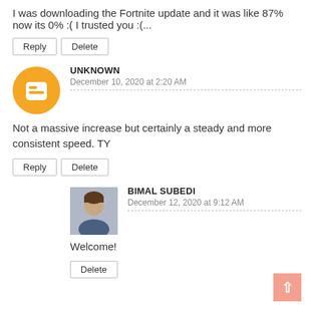I was downloading the Fortnite update and it was like 87% now its 0% :( I trusted you :(...
Reply | Delete
UNKNOWN
December 10, 2020 at 2:20 AM
Not a massive increase but certainly a steady and more consistent speed. TY
Reply | Delete
BIMAL SUBEDI
December 12, 2020 at 9:12 AM
Welcome!
Delete